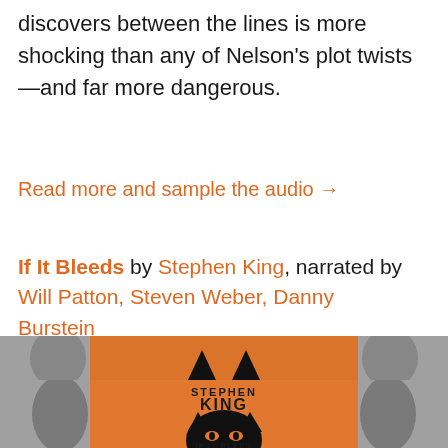discovers between the lines is more shocking than any of Nelson's plot twists—and far more dangerous.
Read more and sample the audio →
If It Bleeds by Stephen King, narrated by Will Patton, Steven Weber, Danny Burstein
[Figure (photo): Book cover of 'If It Bleeds' by Stephen King showing a black cat face on an orange background with grey abstract shapes on the sides]